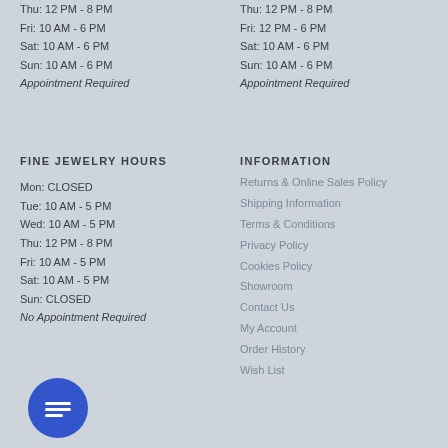Thu: 12 PM - 8 PM
Fri: 10 AM - 6 PM
Sat: 10 AM - 6 PM
Sun: 10 AM - 6 PM
Appointment Required
Thu: 12 PM - 8 PM
Fri: 12 PM - 6 PM
Sat: 10 AM - 6 PM
Sun: 10 AM - 6 PM
Appointment Required
FINE JEWELRY HOURS
INFORMATION
Mon: CLOSED
Tue: 10 AM - 5 PM
Wed: 10 AM - 5 PM
Thu: 12 PM - 8 PM
Fri: 10 AM - 5 PM
Sat: 10 AM - 5 PM
Sun: CLOSED
No Appointment Required
Returns & Online Sales Policy
Shipping Information
Terms & Conditions
Privacy Policy
Cookies Policy
Showroom
Contact Us
My Account
Order History
Wish List
[Figure (illustration): Blue circular chat button with message lines icon]